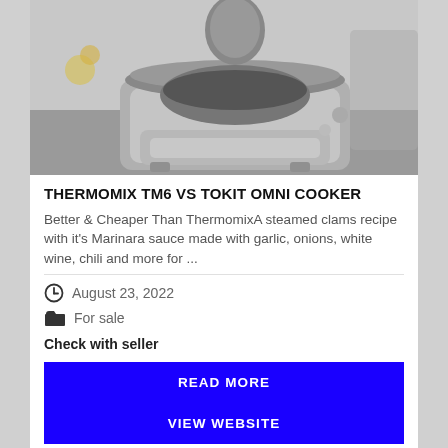[Figure (photo): Photo of a Thermomix TM6 or similar kitchen cooking appliance, showing the machine open with its bowl and various attachments visible, placed on a kitchen counter.]
THERMOMIX TM6 VS TOKIT OMNI COOKER
Better & Cheaper Than ThermomixA steamed clams recipe with it's Marinara sauce made with garlic, onions, white wine, chili and more for ...
August 23, 2022
For sale
Check with seller
READ MORE
VIEW WEBSITE